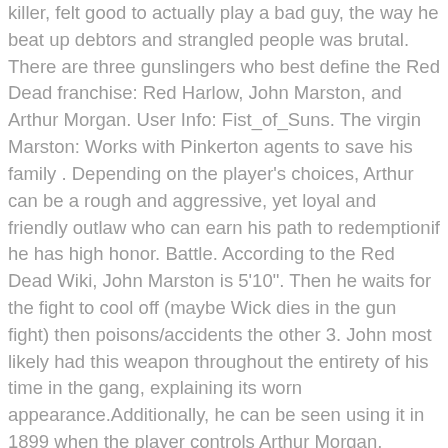killer, felt good to actually play a bad guy, the way he beat up debtors and strangled people was brutal. There are three gunslingers who best define the Red Dead franchise: Red Harlow, John Marston, and Arthur Morgan. User Info: Fist_of_Suns. The virgin Marston: Works with Pinkerton agents to save his family . Depending on the player's choices, Arthur can be a rough and aggressive, yet loyal and friendly outlaw who can earn his path to redemptionif he has high honor. Battle. According to the Red Dead Wiki, John Marston is 5'10". Then he waits for the fight to cool off (maybe Wick dies in the gun fight) then poisons/accidents the other 3. John most likely had this weapon throughout the entirety of his time in the gang, explaining its worn appearance.Additionally, he can be seen using it in 1899 when the player controls Arthur Morgan. Knowing this group is extremely dangerous, the Pinkertons send Agent 47 and John Wick with guns and melee weapons of their choice to go assassinate them in St Denis. Fight takes place in Valentine, each team starting on opposite sides. Arthur was born in 1863 to Lyle and Beatrice.